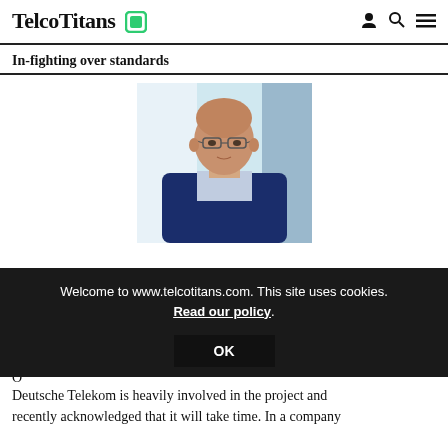TelcoTitans
In-fighting over standards
[Figure (photo): Professional headshot of a middle-aged bald man wearing glasses and a dark navy suit over a light blue shirt, standing in a modern office setting]
Welcome to www.telcotitans.com. This site uses cookies. Read our policy.
OK
O
Deutsche Telekom is heavily involved in the project and recently acknowledged that it will take time. In a company